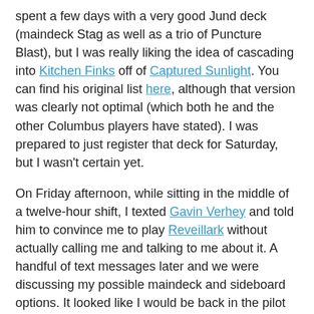spent a few days with a very good Jund deck (maindeck Stag as well as a trio of Puncture Blast), but I was really liking the idea of cascading into Kitchen Finks off of Captured Sunlight. You can find his original list here, although that version was clearly not optimal (which both he and the other Columbus players have stated). I was prepared to just register that deck for Saturday, but I wasn't certain yet.
On Friday afternoon, while sitting in the middle of a twelve-hour shift, I texted Gavin Verhey and told him to convince me to play Reveillark without actually calling me and talking to me about it. A handful of text messages later and we were discussing my possible maindeck and sideboard options. It looked like I would be back in the pilot seat of Reveillark once again, and I felt more or less okay with that. I couldn't lose to white or red-based aggressive decks, I had a strong game against Five Color, and I was favored against Time Sieve and even the